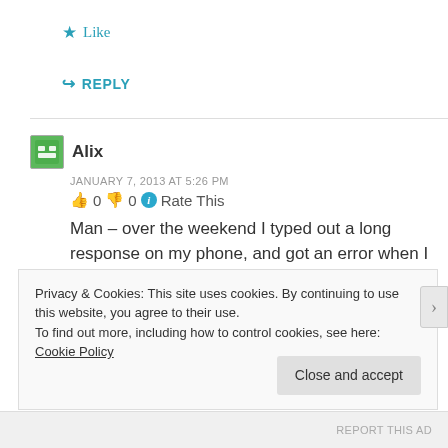★ Like
↪ REPLY
Alix
JANUARY 7, 2013 AT 5:26 PM
👍 0 👎 0 ℹ Rate This
Man – over the weekend I typed out a long response on my phone, and got an error when I hit submit! Let's try this again now that I'm back in front of my
Privacy & Cookies: This site uses cookies. By continuing to use this website, you agree to their use.
To find out more, including how to control cookies, see here: Cookie Policy
Close and accept
REPORT THIS AD